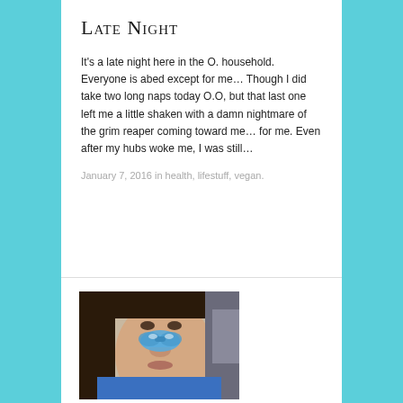Late Night
It's a late night here in the O. household. Everyone is abed except for me… Though I did take two long naps today O.O, but that last one left me a little shaken with a damn nightmare of the grim reaper coming toward me… for me. Even after my hubs woke me, I was still…
January 7, 2016 in health, lifestuff, vegan.
[Figure (photo): A woman with dark hair wearing a blue top, with a blue decorative nose piece or mask on her face]